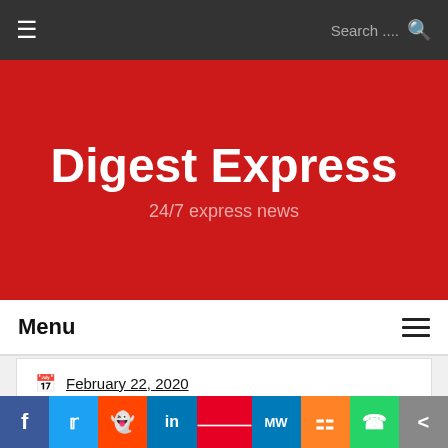Digest Express — 24/7 express news
Digest Express
24/7 express news
Menu
February 22, 2020 | Stephanie Anderson | Fashion
The Healthiness are here in Masks now